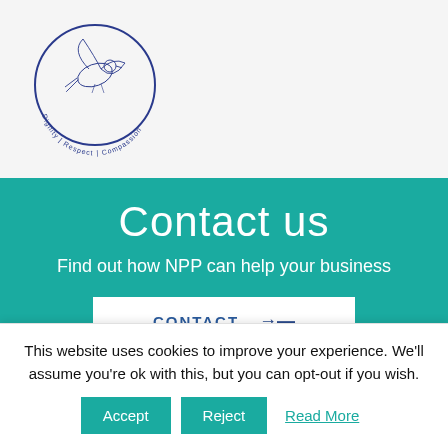[Figure (logo): Circular logo with a dove/bird illustration and text 'Dignity | Respect | Compassion' around the bottom arc, outline in navy blue]
Contact us
Find out how NPP can help your business
CONTACT →
This website uses cookies to improve your experience. We'll assume you're ok with this, but you can opt-out if you wish.
Accept  Reject  Read More